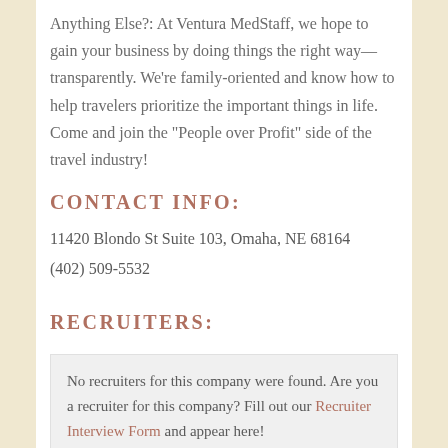Anything Else?: At Ventura MedStaff, we hope to gain your business by doing things the right way—transparently. We're family-oriented and know how to help travelers prioritize the important things in life. Come and join the "People over Profit" side of the travel industry!
CONTACT INFO:
11420 Blondo St Suite 103, Omaha, NE 68164
(402) 509-5532
RECRUITERS:
No recruiters for this company were found. Are you a recruiter for this company? Fill out our Recruiter Interview Form and appear here!